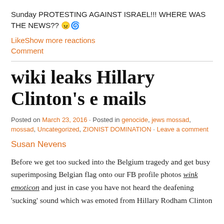Sunday PROTESTING AGAINST ISRAEL!!! WHERE WAS THE NEWS?? 😠🌀
LikeShow more reactions
Comment
wiki leaks Hillary Clinton's e mails
Posted on March 23, 2016 · Posted in genocide, jews mossad, mossad, Uncategorized, ZIONIST DOMINATION · Leave a comment
Susan Nevens
Before we get too sucked into the Belgium tragedy and get busy superimposing Belgian flag onto our FB profile photos wink emoticon and just in case you have not heard the deafening 'sucking' sound which was emoted from Hillary Rodham Clinton